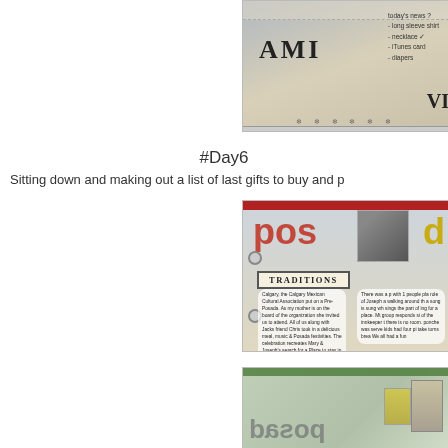[Figure (photo): Scrapbook page showing 'AMI' text with a list, partial 'VI' text, decorative border with snowflake elements]
#Day6
Sitting down and making out a list of last gifts to buy and p
[Figure (photo): Scrapbook page with 'pos' in red letters and 'd' in gold, TRADITIONS banner, two handwritten text boxes about Pre-Posada celebration by the Calgary Mexican Cultural Association, ring binder elements]
[Figure (photo): Scrapbook page showing reversed/mirrored text at bottom, green and grey tones]